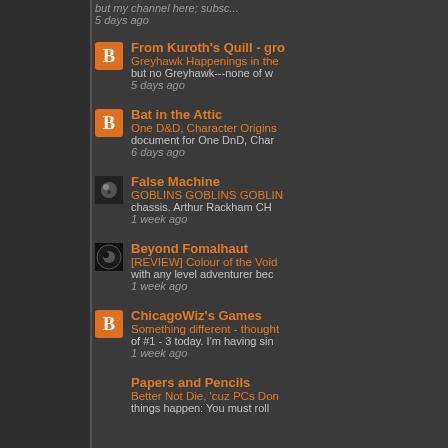but my channel here, subsc... 5 days ago
From Kuroth's Quill - gro... | Greyhawk Happenings in the... | but no Greyhawk---none of w... | 5 days ago
Bat in the Attic | One D&D, Character Origins... | document for One DnD, Char... | 6 days ago
False Machine | GOBLINS GOBLINS GOBLIN... | chassis. Arthur Rackham CH... | 1 week ago
Beyond Fomalhaut | [REVIEW] Colour of the Void... | with any level adventurer bec... | 1 week ago
ChicagoWiz's Games | Something different - thought... | of #1 - 3 today. I'm having sin... | 1 week ago
Papers and Pencils | Better Not Die, 'cuz PCs Don... | things happen: You must roll...